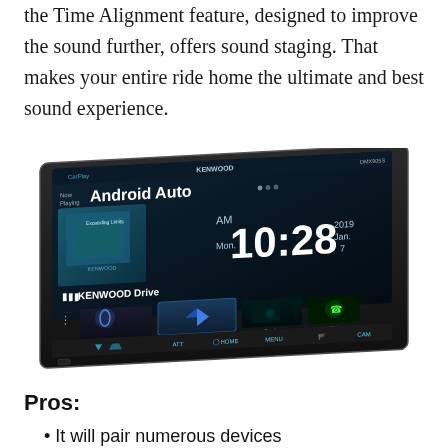the Time Alignment feature, designed to improve the sound further, offers sound staging. That makes your entire ride home the ultimate and best sound experience.
[Figure (photo): A Kenwood car audio head unit displaying Android Auto interface with the time 10:28 AM, Monday, Jan. 7 2019. The bottom row shows Bluetooth, Android Auto, Radio, and TEL icons with hardware buttons below.]
Pros:
It will pair numerous devices